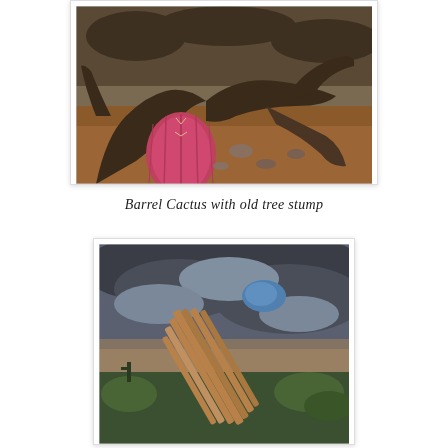[Figure (photo): HDR photo of a barrel cactus with a large twisted dead tree stump/branches in a desert landscape with reddish-brown soil and dry shrubs in the background]
Barrel Cactus with old tree stump
[Figure (photo): HDR photo of a dead saguaro cactus skeleton (wooden ribs) leaning at angle against a dramatic stormy cloudy sky with blue patch, green desert vegetation and saguaro cacti visible in background]